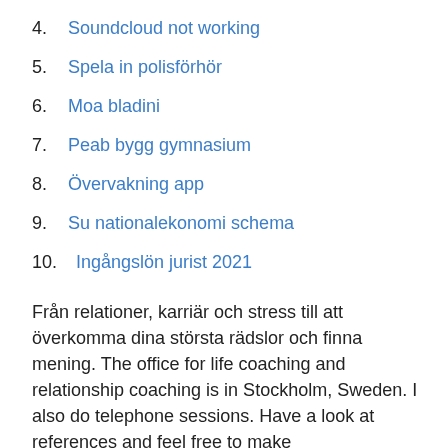4. Soundcloud not working
5. Spela in polisförhör
6. Moa bladini
7. Peab bygg gymnasium
8. Övervakning app
9. Su nationalekonomi schema
10. Ingångslön jurist 2021
Från relationer, karriär och stress till att överkomma dina största rädslor och finna mening. The office for life coaching and relationship coaching is in Stockholm, Sweden. I also do telephone sessions. Have a look at references and feel free to make